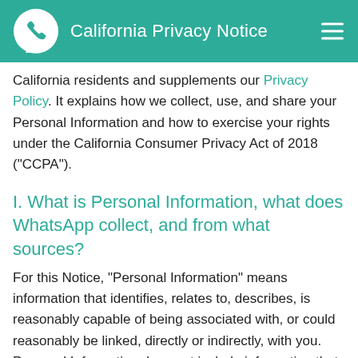California Privacy Notice
California residents and supplements our Privacy Policy. It explains how we collect, use, and share your Personal Information and how to exercise your rights under the California Consumer Privacy Act of 2018 ("CCPA").
I. What is Personal Information, what does WhatsApp collect, and from what sources?
For this Notice, "Personal Information" means information that identifies, relates to, describes, is reasonably capable of being associated with, or could reasonably be linked, directly or indirectly, with you. Personal Information does not include information that is aggregated, de-identified or